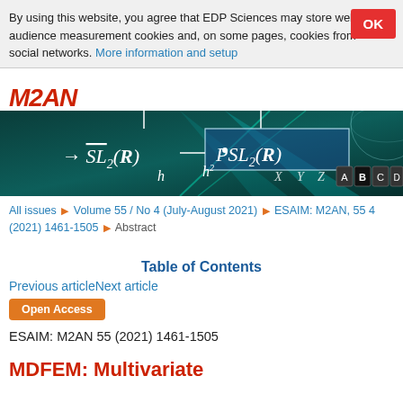By using this website, you agree that EDP Sciences may store web audience measurement cookies and, on some pages, cookies from social networks. More information and setup
[Figure (illustration): M2AN journal logo in red italic text]
[Figure (photo): Hero banner image showing mathematical equations SL2(R) and PSL2(R) on a dark teal background with geometric shapes and keyboard-style letter blocks A B C D E]
All issues ▶ Volume 55 / No 4 (July-August 2021) ▶ ESAIM: M2AN, 55 4 (2021) 1461-1505 ▶ Abstract
Table of Contents
Previous articleNext article
Open Access
ESAIM: M2AN 55 (2021) 1461-1505
MDFEM: Multivariate